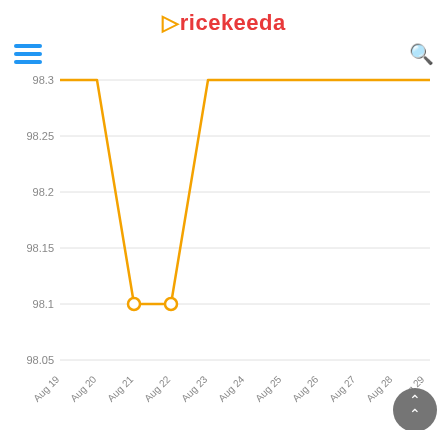Pricekeeda
[Figure (line-chart): Price history chart]